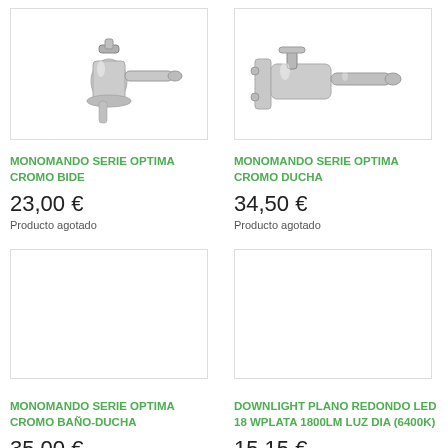[Figure (photo): Chrome single-lever tap / bide faucet product photo on white background]
[Figure (photo): Chrome single-lever shower/bath faucet product photo on white background]
MONOMANDO SERIE OPTIMA CROMO BIDE
MONOMANDO SERIE OPTIMA CROMO DUCHA
23,00 €
Producto agotado
34,50 €
Producto agotado
[Figure (photo): Empty product image box for MONOMANDO SERIE OPTIMA CROMO BAÑO-DUCHA]
[Figure (photo): Empty product image box for DOWNLIGHT PLANO REDONDO LED 18 WPLATA 1800LM LUZ DIA (6400K)]
MONOMANDO SERIE OPTIMA CROMO BAÑO-DUCHA
DOWNLIGHT PLANO REDONDO LED 18 WPLATA 1800LM LUZ DIA (6400K)
35,00 €
Producto agotado
15,15 €
12,52 € sin IVA
[Figure (photo): Empty product image box (bottom left)]
[Figure (photo): Empty product image box (bottom right)]